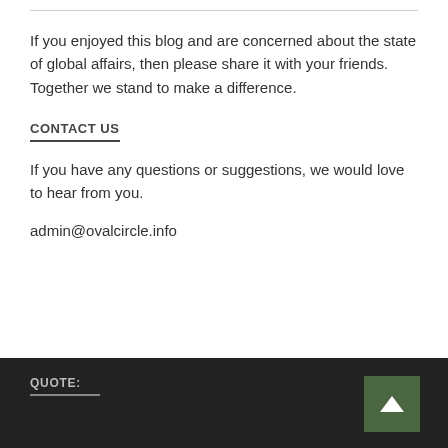If you enjoyed this blog and are concerned about the state of global affairs, then please share it with your friends. Together we stand to make a difference.
CONTACT US
If you have any questions or suggestions, we would love to hear from you.
admin@ovalcircle.info
QUOTE: